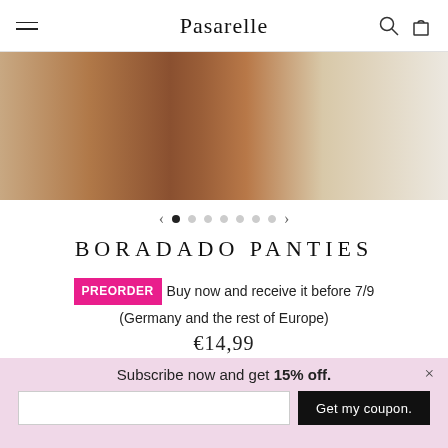Pasarelle
[Figure (photo): Close-up photo of model wearing lingerie/panties, tan skin against white/cream fabric background]
BORADADO PANTIES
PREORDER Buy now and receive it before 7/9 (Germany and the rest of Europe)
€14,99
Color:
Subscribe now and get 15% off.